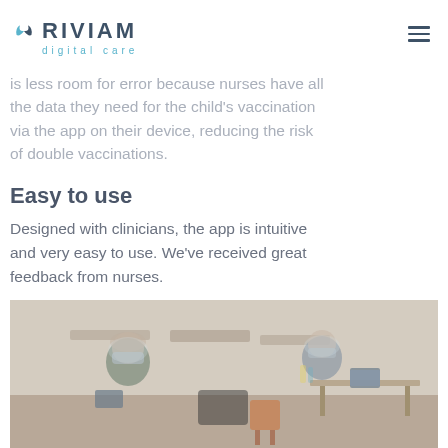RIVIAM digital care
is less room for error because nurses have all the data they need for the child's vaccination via the app on their device, reducing the risk of double vaccinations.
Easy to use
Designed with clinicians, the app is intuitive and very easy to use. We've received great feedback from nurses.
[Figure (photo): Two healthcare workers wearing face masks and face shields sitting at tables in a hall during a vaccination clinic, with tablets/devices on the tables.]